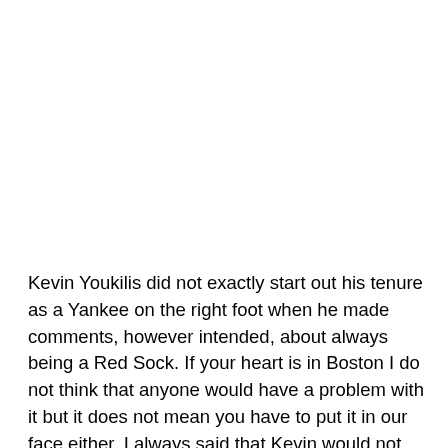Kevin Youkilis did not exactly start out his tenure as a Yankee on the right foot when he made comments, however intended, about always being a Red Sock. If your heart is in Boston I do not think that anyone would have a problem with it but it does not mean you have to put it in our face either. I always said that Kevin would not win over any Yankees fans with his mouth and would only be able to do it with his bat and on the field performance. I intend on cheering on Youk all season long like I would any Yankee not named Andruw